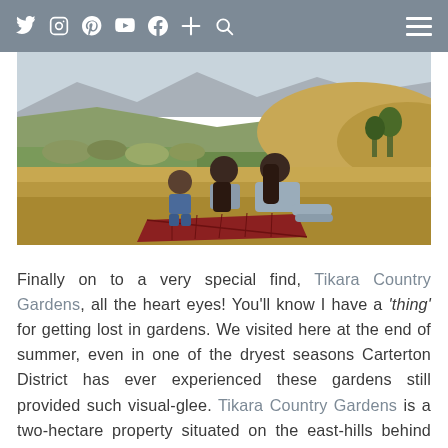Navigation bar with social icons: Twitter, Instagram, Pinterest, YouTube, Facebook, Plus, Search, and hamburger menu
[Figure (photo): Three people (two children and an adult/teenager) sitting on a red picnic blanket on dry grass, viewed from behind, looking out over a rural landscape with green fields, rolling hills, and mountains in the background under a hazy sky.]
Finally on to a very special find, Tikara Country Gardens, all the heart eyes! You'll know I have a 'thing' for getting lost in gardens. We visited here at the end of summer, even in one of the dryest seasons Carterton District has ever experienced these gardens still provided such visual-glee. Tikara Country Gardens is a two-hectare property situated on the east-hills behind Carterton